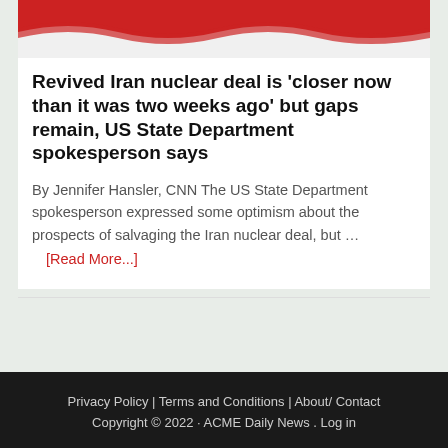[Figure (photo): Partial view of a red and white flag (Iran flag) against a light background]
Revived Iran nuclear deal is 'closer now than it was two weeks ago' but gaps remain, US State Department spokesperson says
By Jennifer Hansler, CNN The US State Department spokesperson expressed some optimism about the prospects of salvaging the Iran nuclear deal, but … [Read More...]
Privacy Policy | Terms and Conditions | About/ Contact Copyright © 2022 · ACME Daily News . Log in